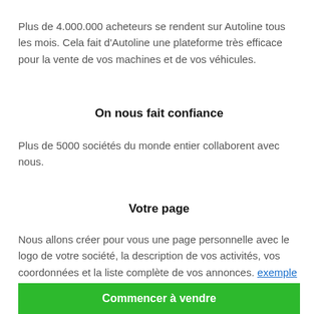Plus de 4.000.000 acheteurs se rendent sur Autoline tous les mois. Cela fait d'Autoline une plateforme très efficace pour la vente de vos machines et de vos véhicules.
On nous fait confiance
Plus de 5000 sociétés du monde entier collaborent avec nous.
Votre page
Nous allons créer pour vous une page personnelle avec le logo de votre société, la description de vos activités, vos coordonnées et la liste complète de vos annonces. exemple
Commencer à vendre